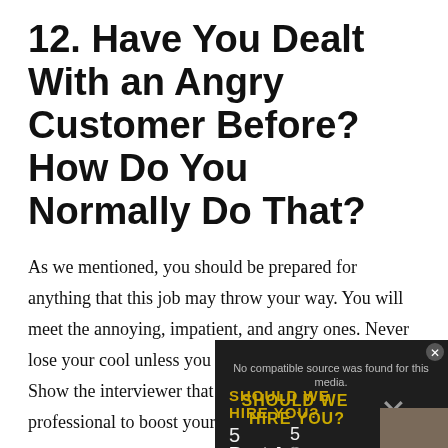12. Have You Dealt With an Angry Customer Before? How Do You Normally Do That?
As we mentioned, you should be prepared for anything that this job may throw your way. You will meet the annoying, impatient, and angry ones. Never lose your cool unless you are ready to lose your job. Show the interviewer that you can stay calm and professional to boost your chances of landing the job.
[Figure (screenshot): Video overlay showing 'No compatible source was found for this media.' with SHOULD WE HIRE YOU? 5 Best Answers text and a close X button]